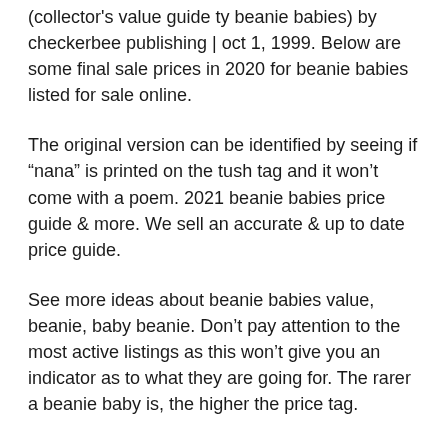(collector's value guide ty beanie babies) by checkerbee publishing | oct 1, 1999. Below are some final sale prices in 2020 for beanie babies listed for sale online.
The original version can be identified by seeing if “nana” is printed on the tush tag and it won’t come with a poem. 2021 beanie babies price guide & more. We sell an accurate & up to date price guide.
See more ideas about beanie babies value, beanie, baby beanie. Don’t pay attention to the most active listings as this won’t give you an indicator as to what they are going for. The rarer a beanie baby is, the higher the price tag.